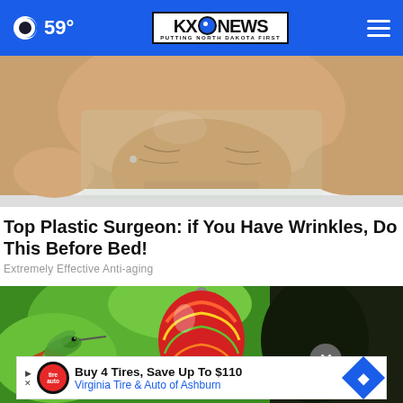59° | KXO NEWS — PUTTING NORTH DAKOTA FIRST
[Figure (photo): Close-up photo of a person's lower face/chin area with wrinkled skin, applying or wearing a face treatment mask]
Top Plastic Surgeon: if You Have Wrinkles, Do This Before Bed!
Extremely Effective Anti-aging
[Figure (photo): Photo of a hummingbird hovering next to a colorful red and yellow glass ornament/feeder, against a green and dark background]
Buy 4 Tires, Save Up To $110 Virginia Tire & Auto of Ashburn